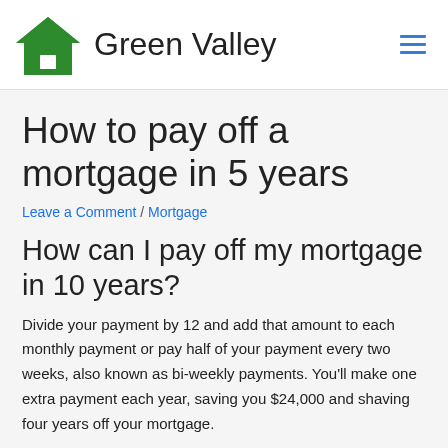Green Valley
How to pay off a mortgage in 5 years
Leave a Comment / Mortgage
How can I pay off my mortgage in 10 years?
Divide your payment by 12 and add that amount to each monthly payment or pay half of your payment every two weeks, also known as bi-weekly payments. You'll make one extra payment each year, saving you $24,000 and shaving four years off your mortgage.